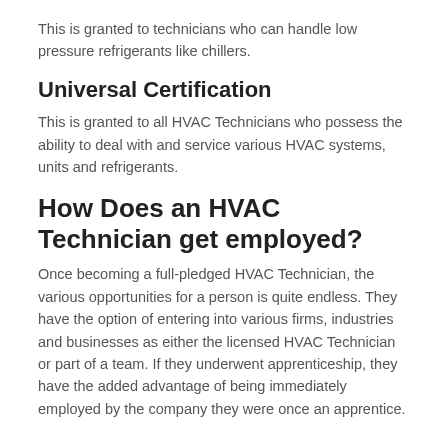This is granted to technicians who can handle low pressure refrigerants like chillers.
Universal Certification
This is granted to all HVAC Technicians who possess the ability to deal with and service various HVAC systems, units and refrigerants.
How Does an HVAC Technician get employed?
Once becoming a full-pledged HVAC Technician, the various opportunities for a person is quite endless. They have the option of entering into various firms, industries and businesses as either the licensed HVAC Technician or part of a team. If they underwent apprenticeship, they have the added advantage of being immediately employed by the company they were once an apprentice.